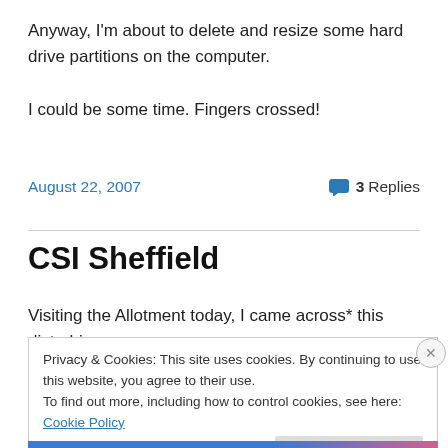Anyway, I'm about to delete and resize some hard drive partitions on the computer.

I could be some time. Fingers crossed!
August 22, 2007
3 Replies
CSI Sheffield
Visiting the Allotment today, I came across* this disturbing
Privacy & Cookies: This site uses cookies. By continuing to use this website, you agree to their use.
To find out more, including how to control cookies, see here: Cookie Policy
Close and accept